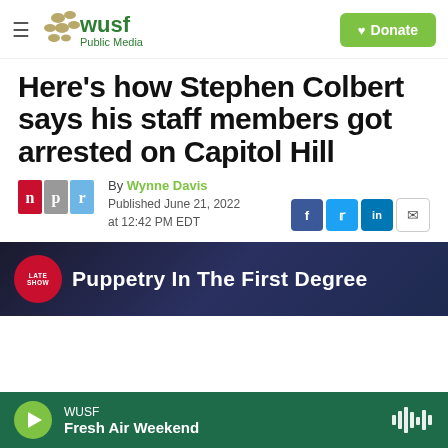[Figure (logo): WUSF Public Media logo with hamburger menu and Donate button]
Here's how Stephen Colbert says his staff members got arrested on Capitol Hill
By Wynne Davis
Published June 21, 2022 at 12:42 PM EDT
[Figure (screenshot): Late Show video thumbnail: Puppetry In The First Degree]
WUSF Fresh Air Weekend